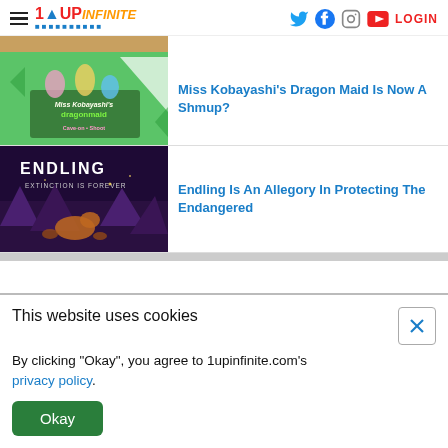1UP INFINITE — social icons: Twitter, Facebook, Instagram, YouTube, LOGIN
[Figure (photo): Partial top article thumbnail (cropped)]
[Figure (photo): Miss Kobayashi's Dragon Maid game cover art on green background]
Miss Kobayashi’s Dragon Maid Is Now A Shmup?
[Figure (photo): Endling Extinction is Forever game cover art, dark purple forest scene with a fox and cubs]
Endling Is An Allegory In Protecting The Endangered
This website uses cookies
By clicking "Okay", you agree to 1upinfinite.com’s privacy policy.
Okay